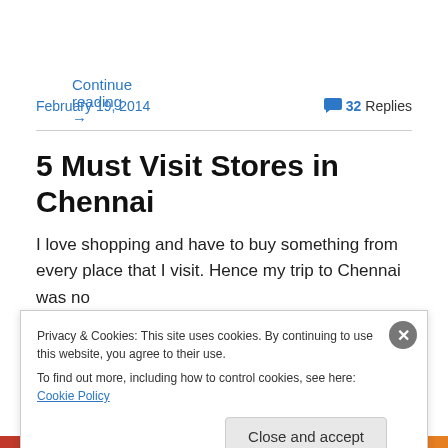Continue reading →
February 19, 2014
32 Replies
5 Must Visit Stores in Chennai
I love shopping and have to buy something from every place that I visit. Hence my trip to Chennai was no
Privacy & Cookies: This site uses cookies. By continuing to use this website, you agree to their use.
To find out more, including how to control cookies, see here: Cookie Policy
Close and accept